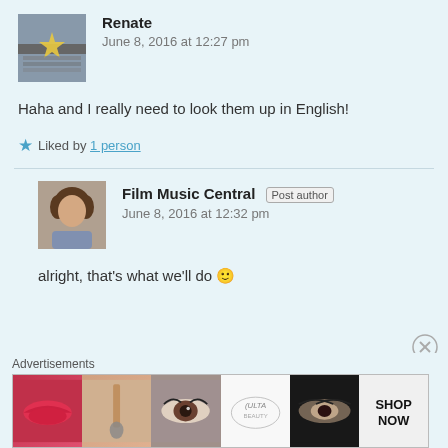Renate
June 8, 2016 at 12:27 pm
Haha and I really need to look them up in English!
Liked by 1 person
Film Music Central Post author
June 8, 2016 at 12:32 pm
alright, that's what we'll do 🙂
[Figure (other): Ulta Beauty advertisement banner showing makeup and cosmetics imagery with SHOP NOW call to action]